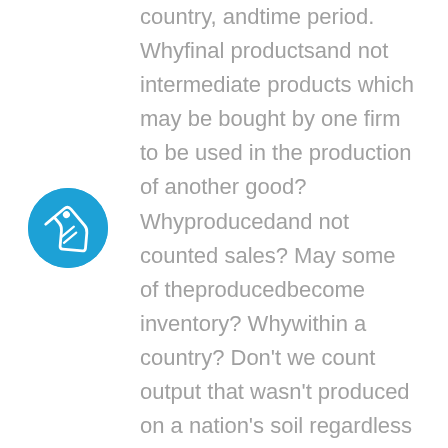[Figure (illustration): Blue circle icon with a white price tag / label symbol inside]
country, andtime period. Whyfinal productsand not intermediate products which may be bought by one firm to be used in the production of another good? Whyproducedand not counted sales? May some of theproducedbecome inventory? Whywithin a country? Don't we count output that wasn't produced on a nation's soil regardless of who was responsible for producing it? Whytime period? Do we have to be